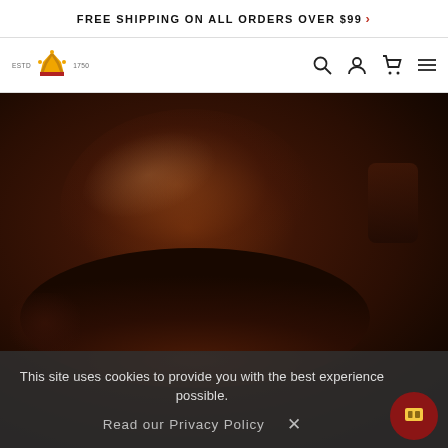FREE SHIPPING ON ALL ORDERS OVER $99 >
[Figure (logo): Brand logo with crown icon, EST 1750 text, and navigation icons (search, user, cart, menu)]
[Figure (photo): Close-up aerial view of a richly frosted chocolate cake with dark glossy chocolate ganache swirled on top, photographed from above]
This site uses cookies to provide you with the best experience possible.
Read our Privacy Policy  ×